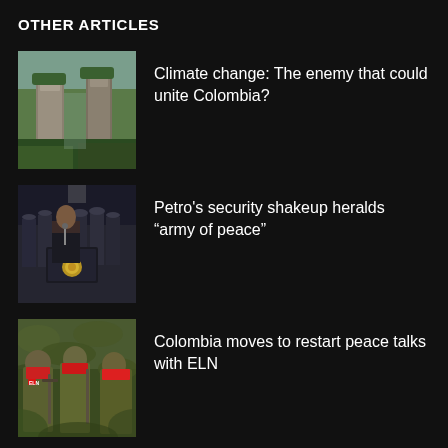OTHER ARTICLES
Climate change: The enemy that could unite Colombia?
[Figure (photo): Aerial view of tall rocky cliff formations surrounded by lush green jungle vegetation]
Petro’s security shakeup heralds “army of peace”
[Figure (photo): Colombian president Petro speaking at a podium with military officers in uniform behind him, a gold emblem visible on the dark podium]
Colombia moves to restart peace talks with ELN
[Figure (photo): Armed ELN guerrilla fighters in camouflage with red bandanas covering their faces, standing among leafy vegetation]